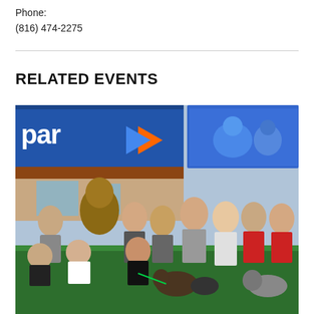Phone:
(816) 474-2275
RELATED EVENTS
[Figure (photo): Group photo of people and dogs posing in front of shipping container buildings with a 'park' logo sign. A person in a large bear/bigfoot mascot costume stands among the group. People are wearing athletic gear, some kneeling with dogs including a German Shepherd.]